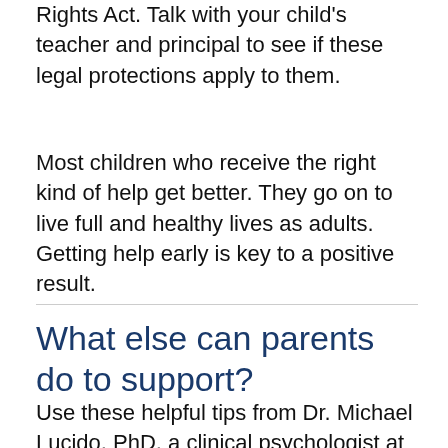Rights Act. Talk with your child's teacher and principal to see if these legal protections apply to them.
Most children who receive the right kind of help get better. They go on to live full and healthy lives as adults. Getting help early is key to a positive result.
What else can parents do to support?
Use these helpful tips from Dr. Michael Lucido, PhD, a clinical psychologist at Munson